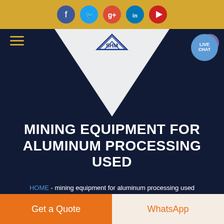[Figure (screenshot): Website header with golden background and social media icons: Facebook, Twitter, Google+, LinkedIn, YouTube]
[Figure (screenshot): Dark navy website navigation bar with hamburger menu, SHM logo in white triangle shape, and live chat bubble on the right]
MINING EQUIPMENT FOR ALUMINUM PROCESSING USED
HOME - mining equipment for aluminum processing used
[Figure (photo): Industrial facility image showing warehouse or processing plant interior]
Get a Quote
WhatsApp